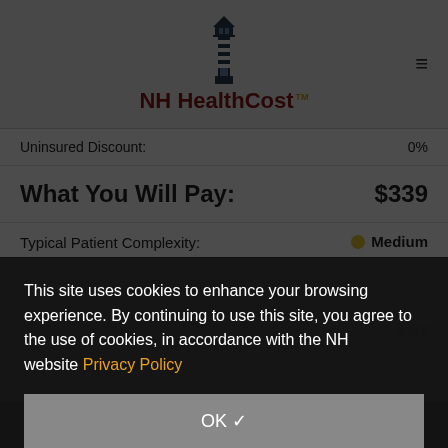[Figure (logo): NH HealthCost lighthouse logo with text 'NH HealthCost TM']
Uninsured Discount: 0%
What You Will Pay: $339
Typical Patient Complexity: Medium
Estimate of Procedure Cost: $342
This site uses cookies to enhance your browsing experience. By continuing to use this site, you agree to the use of cookies, in accordance with the NH website Privacy Policy
OK ✓
⊟ COMPARE SELECTED
Search